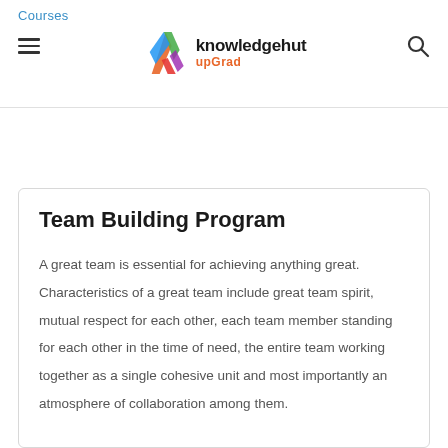Courses
[Figure (logo): KnowledgeHut upGrad logo with colorful A-shaped icon]
Team Building Program
A great team is essential for achieving anything great. Characteristics of a great team include great team spirit, mutual respect for each other, each team member standing for each other in the time of need, the entire team working together as a single cohesive unit and most importantly an atmosphere of collaboration among them.